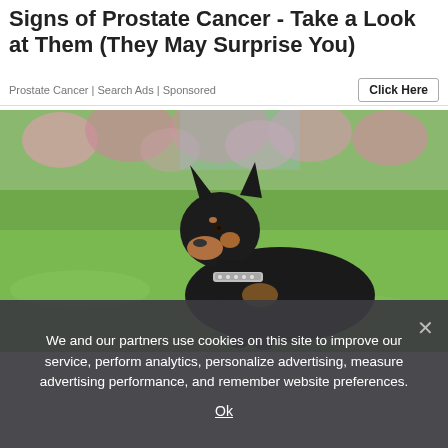Signs of Prostate Cancer - Take a Look at Them (They May Surprise You)
Prostate Cancer | Search Ads | Sponsored
[Figure (photo): A black and tan Doberman/Miniature Pinscher dog with a silver chain collar, lying on green grass with pink flowers in the blurred background.]
We and our partners use cookies on this site to improve our service, perform analytics, personalize advertising, measure advertising performance, and remember website preferences.
Ok